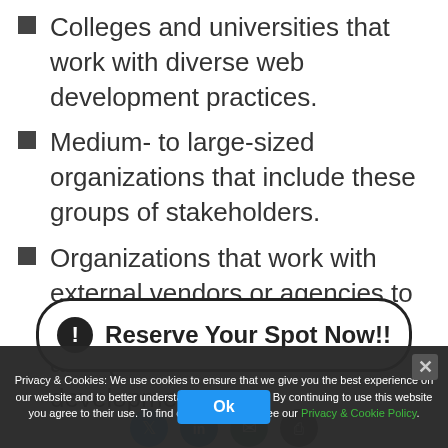Colleges and universities that work with diverse web development practices.
Medium- to large-sized organizations that include these groups of stakeholders.
Organizations that work with external vendors or agencies to perform design, development, and QA functions in web development.
[Figure (other): CTA button with exclamation icon and text 'Reserve Your Spot Now!!']
Privacy & Cookies: We use cookies to ensure that we give you the best experience on our website and to better understand our web traffic. By continuing to use this website you agree to their use. To find out more, please see our Privacy & Cookie Policy.
Share this...